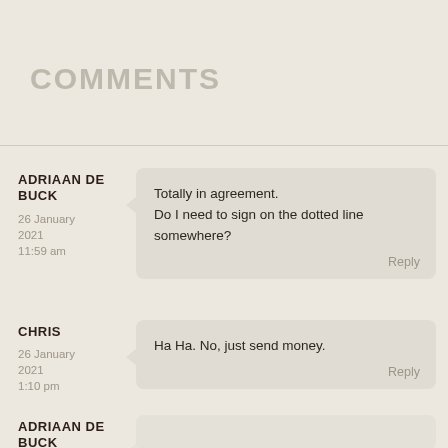COMMENTS
ADRIAAN DE BUCK
26 January 2021
11:59 am
Totally in agreement.
Do I need to sign on the dotted line somewhere?
Reply
CHRIS
26 January 2021
1:10 pm
Ha Ha. No, just send money.
Reply
ADRIAAN DE BUCK